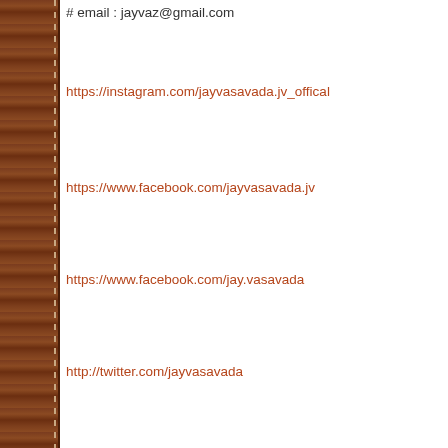# email : jayvaz@gmail.com
https://instagram.com/jayvasavada.jv_offical
https://www.facebook.com/jayvasavada.jv
https://www.facebook.com/jay.vasavada
http://twitter.com/jayvasavada
Advertisements
Need a website quickly – and on a budget?
http://gu.wikipedia.org/wiki/જય_વસાવડા
jay vasavada official youtube
# as pictures/photographs used here are from various sources inclu free online resources, its practically impossible to mention proper cr heart. but planetjv express sincere thanks to all creators of these im